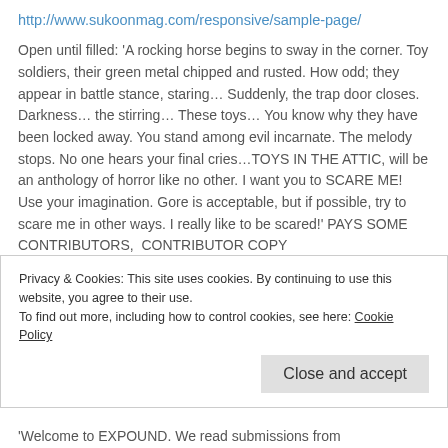http://www.sukoonmag.com/responsive/sample-page/
Open until filled: 'A rocking horse begins to sway in the corner. Toy soldiers, their green metal chipped and rusted. How odd; they appear in battle stance, staring… Suddenly, the trap door closes. Darkness… the stirring… These toys… You know why they have been locked away. You stand among evil incarnate. The melody stops. No one hears your final cries…TOYS IN THE ATTIC, will be an anthology of horror like no other. I want you to SCARE ME! Use your imagination. Gore is acceptable, but if possible, try to scare me in other ways. I really like to be scared!' PAYS SOME CONTRIBUTORS,  CONTRIBUTOR COPY http://jwkfiction.com/index.php/opsub/99-toys-in-the-attic-a-collection-of-evil-playthings
'Penmore Press accepts manuscripts in most genres of
Privacy & Cookies: This site uses cookies. By continuing to use this website, you agree to their use.
To find out more, including how to control cookies, see here: Cookie Policy
'Welcome to EXPOUND. We read submissions from